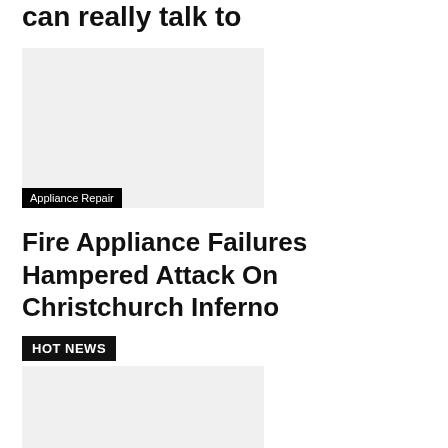can really talk to
[Figure (photo): Gray placeholder image with Appliance Repair label overlay]
Appliance Repair
Fire Appliance Failures Hampered Attack On Christchurch Inferno
HOT NEWS
[Figure (photo): Gray placeholder image below HOT NEWS badge]